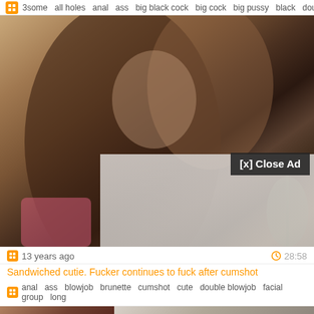3some  all holes  anal  ass  big black cock  big cock  big pussy  black  double
[Figure (screenshot): Adult video website screenshot showing a video still of a woman with curly brown hair and heavy makeup, with a semi-transparent ad overlay and a '[x] Close Ad' button]
13 years ago  28:58
Sandwiched cutie. Fucker continues to fuck after cumshot
anal  ass  blowjob  brunette  cumshot  cute  double blowjob  facial  group  long